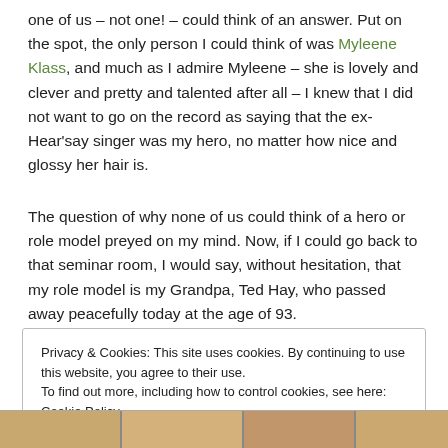one of us – not one! – could think of an answer. Put on the spot, the only person I could think of was Myleene Klass, and much as I admire Myleene – she is lovely and clever and pretty and talented after all – I knew that I did not want to go on the record as saying that the ex-Hear'say singer was my hero, no matter how nice and glossy her hair is.
The question of why none of us could think of a hero or role model preyed on my mind. Now, if I could go back to that seminar room, I would say, without hesitation, that my role model is my Grandpa, Ted Hay, who passed away peacefully today at the age of 93.
Privacy & Cookies: This site uses cookies. By continuing to use this website, you agree to their use. To find out more, including how to control cookies, see here: Cookie Policy
Close and accept
[Figure (photo): Bottom strip showing partial photos of people]